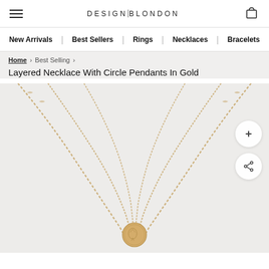DESIGN|BLONDON
New Arrivals | Best Sellers | Rings | Necklaces | Bracelets
Home › Best Selling ›
Layered Necklace With Circle Pendants In Gold
[Figure (photo): Gold layered necklace with circle coin pendants on a light beige background, showing multiple chain layers converging to a central coin pendant.]